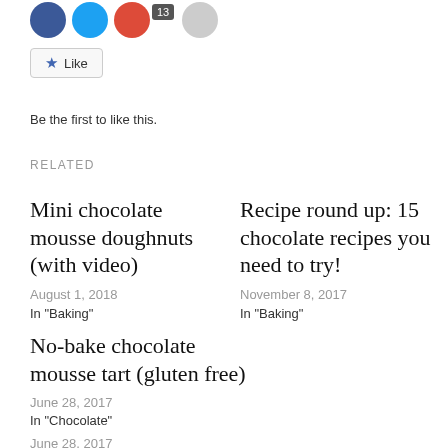[Figure (screenshot): Social sharing icons: Facebook blue circle, Twitter blue circle, red circle with '13' badge, gray circle]
[Figure (screenshot): Like button with blue star icon and text 'Like']
Be the first to like this.
RELATED
Mini chocolate mousse doughnuts (with video)
August 1, 2018
In "Baking"
Recipe round up: 15 chocolate recipes you need to try!
November 8, 2017
In "Baking"
No-bake chocolate mousse tart (gluten free)
June 28, 2017
In "Chocolate"